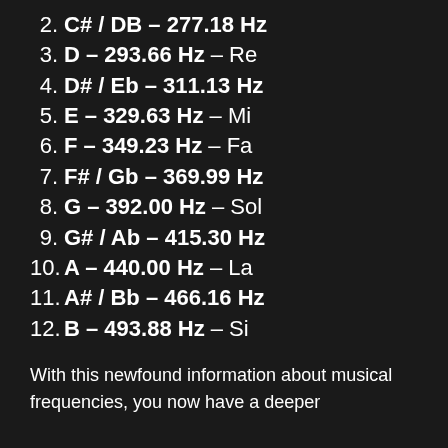2. C# / DB – 277.18 Hz
3. D – 293.66 Hz – Re
4. D# / Eb – 311.13 Hz
5. E – 329.63 Hz – Mi
6. F – 349.23 Hz – Fa
7. F# / Gb – 369.99 Hz
8. G – 392.00 Hz – Sol
9. G# / Ab – 415.30 Hz
10. A – 440.00 Hz – La
11. A# / Bb – 466.16 Hz
12. B – 493.88 Hz – Si
With this newfound information about musical frequencies, you now have a deeper